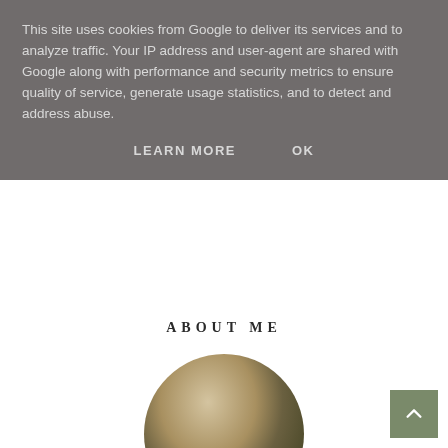This site uses cookies from Google to deliver its services and to analyze traffic. Your IP address and user-agent are shared with Google along with performance and security metrics to ensure quality of service, generate usage statistics, and to detect and address abuse.
LEARN MORE    OK
ABOUT ME
[Figure (photo): Circular cropped profile photo of a person with blonde/light brown hair, partially visible, showing top of head and hair.]